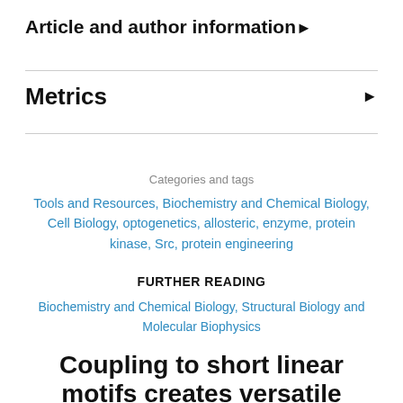Article and author information▶
Metrics ▶
Categories and tags
Tools and Resources, Biochemistry and Chemical Biology, Cell Biology, optogenetics, allosteric, enzyme, protein kinase, Src, protein engineering
FURTHER READING
Biochemistry and Chemical Biology, Structural Biology and Molecular Biophysics
Coupling to short linear motifs creates versatile